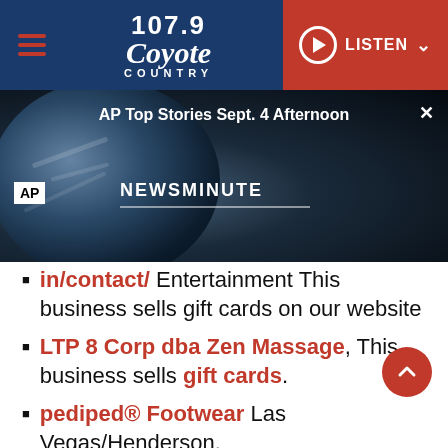[Figure (screenshot): 107.9 Coyote Country radio station website header with hamburger menu icon, logo, and red LISTEN button]
[Figure (screenshot): AP Newsminute video overlay showing globe image with text 'AP Top Stories Sept. 4 Afternoon' and close button]
in/contact/ Entertainment This business sells gift cards on our website
LTP 8 Corp dba Zen Massage, This business sells gift cards.
pediped® Footwear Las Vegas/Henderson. www.pediped.com/standardgiftcard. This is open for delivery and sells gift cards on our website